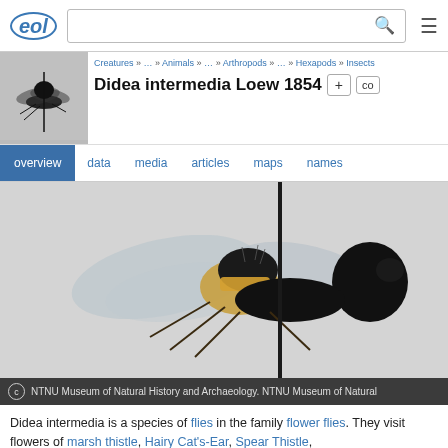eol [logo] [search box] [hamburger menu]
[Figure (photo): Small thumbnail photo of a fly (Didea intermedia) specimen, side view, pinned on white background]
Didea intermedia Loew 1854
Creatures » … » Animals » … » Arthropods » … » Hexapods » Insects
overview  data  media  articles  maps  names
[Figure (photo): Large macro photograph of Didea intermedia (hoverfly) specimen, mounted on a pin, lateral view showing black and yellow thorax, transparent wings, and dark abdomen against white background]
© NTNU Museum of Natural History and Archaeology. NTNU Museum of Natural
Didea intermedia is a species of flies in the family flower flies. They visit flowers of marsh thistle, Hairy Cat's-Ear, Spear Thistle,